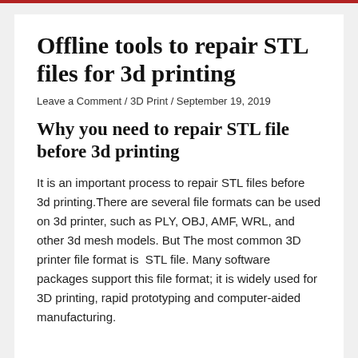Offline tools to repair STL files for 3d printing
Leave a Comment / 3D Print / September 19, 2019
Why you need to repair STL file before 3d printing
It is an important process to repair STL files before 3d printing.There are several file formats can be used on 3d printer, such as PLY, OBJ, AMF, WRL, and other 3d mesh models. But The most common 3D printer file format is  STL file. Many software packages support this file format; it is widely used for 3D printing, rapid prototyping and computer-aided manufacturing.